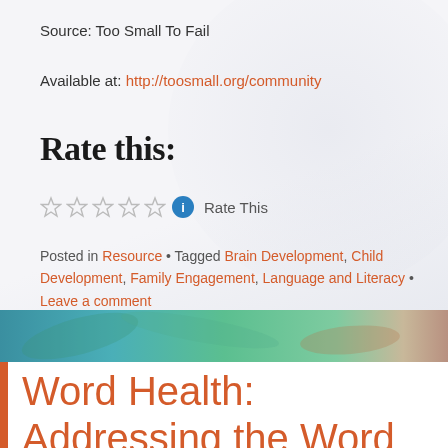Source: Too Small To Fail
Available at: http://toosmall.org/community
Rate this:
☆☆☆☆☆ ℹ Rate This
Posted in Resource • Tagged Brain Development, Child Development, Family Engagement, Language and Literacy • Leave a comment
[Figure (photo): Decorative band image showing colorful scene, appears to be teal/green and warm tones]
Word Health: Addressing the Word